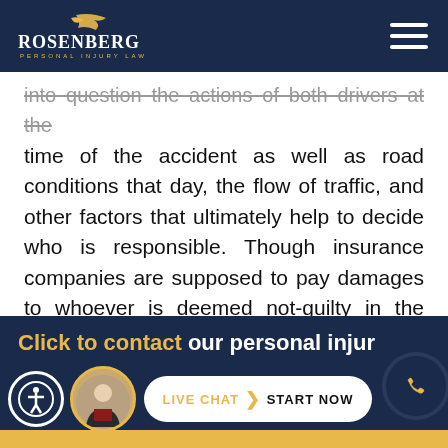Rosenberg & Gluck LLP Personal Injury Law
into question the actions of both drivers at the time of the accident as well as road conditions that day, the flow of traffic, and other factors that ultimately help to decide who is responsible. Though insurance companies are supposed to pay damages to whoever is deemed not-guilty in the situation, again, they may often take specific actions and steps to avoid paying the full amount to cover your losses and damages.
Click to contact our personal injury... LIVE CHAT START NOW